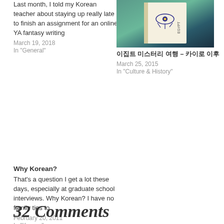Last month, I told my Korean teacher about staying up really late to finish an assignment for an online YA fantasy writing
March 19, 2018
In "General"
[Figure (photo): A photo showing a book with an Eye of Horus symbol on the cover]
이집트 미스터리 여행 – 카이로 이후
March 25, 2015
In "Culture & History"
Why Korean?
That's a question I get a lot these days, especially at graduate school interviews.  Why Korean?  I have no family ties to
February 20, 2011
In "Korean"
32 Comments